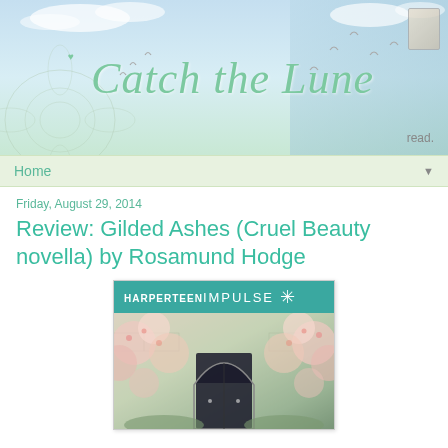[Figure (illustration): Blog header banner for 'Catch the Lune' blog with cursive green text, floral illustration on left, birds, and 'read.' text on right. Light blue-green watercolor background.]
Home ▼
Friday, August 29, 2014
Review: Gilded Ashes (Cruel Beauty novella) by Rosamund Hodge
[Figure (photo): Book cover for Gilded Ashes. HarperTeen Impulse logo with asterisk at top on teal background. Below is a stone archway/doorway surrounded by flowering blossoms (cherry blossom trees) in pink and white.]